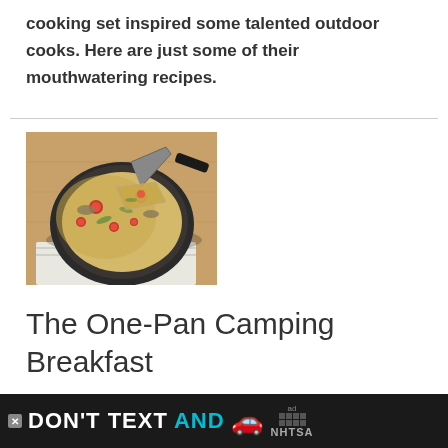cooking set inspired some talented outdoor cooks. Here are just some of their mouthwatering recipes.
[Figure (photo): A cast iron skillet with a frittata or egg dish with tomatoes and vegetables, with a spatula lifting a slice, placed on a folded cloth on a wooden surface.]
The One-Pan Camping Breakfast
c...mp°e
[Figure (infographic): Advertisement banner: DON'T TEXT AND [car emoji] with ad choices logo and NHTSA branding on dark background.]